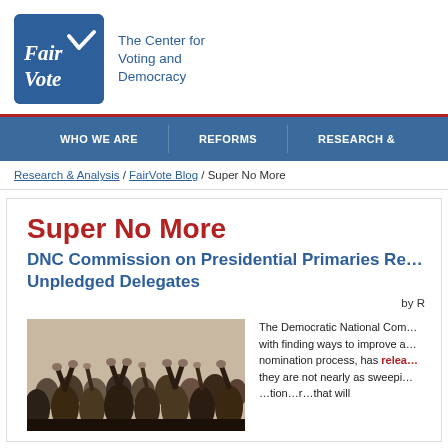[Figure (logo): FairVote logo with blue rounded square and text 'The Center for Voting and Democracy']
WHO WE ARE   REFORMS   RESEARCH &
Research & Analysis / FairVote Blog / Super No More
Super No More
DNC Commission on Presidential Primaries Re... Unpledged Delegates
by R
[Figure (photo): Crowd of people with hands raised at a political event or caucus]
The Democratic National Com... with finding ways to improve a... nomination process, has relea... they are not nearly as sweepi... ...tion...r...that will